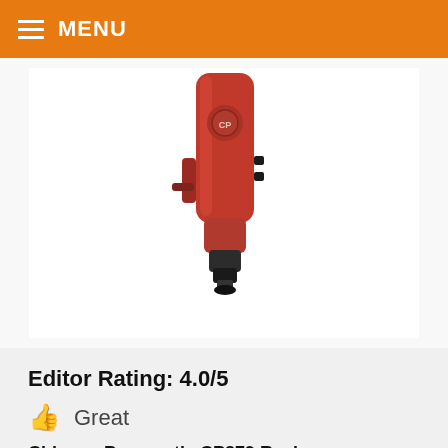MENU
[Figure (photo): Red Chicago Pneumatic CP879 pneumatic drill/screwdriver tool shown from above, with red body, black chuck at bottom, and trigger mechanism visible]
Editor Rating: 4.0/5
👍 Great
Chicago Pneumatic CP879 Review
Reviewed by: Timothy